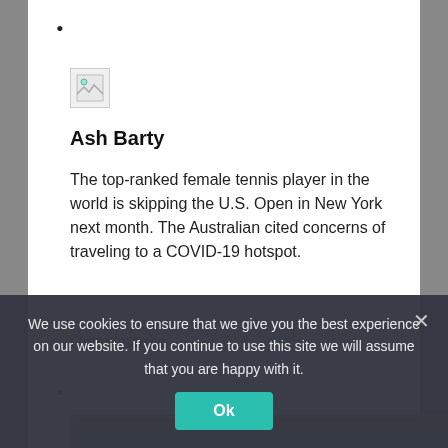•
[Figure (photo): Broken/missing image placeholder icon for Ash Barty]
Ash Barty
The top-ranked female tennis player in the world is skipping the U.S. Open in New York next month. The Australian cited concerns of traveling to a COVID-19 hotspot.
Getty Images
•
[Figure (photo): Blurred photo of a person (tennis player) with crowd in background, partially visible at bottom of page]
We use cookies to ensure that we give you the best experience on our website. If you continue to use this site we will assume that you are happy with it.